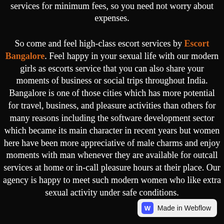services for minimum fees, so you need not worry about expenses.
So come and feel high-class escort services by Escort Bangalore. Feel happy in your sexual life with our modern girls as escorts service that you can also share your moments of business or social trips throughout India. Bangalore is one of those cities which has more potential for travel, business, and pleasure activities than others for many reasons including the software development sector which became its main character in recent years but women here have been more appreciative of male charms and enjoy moments with man whenever they are available for outcall services at home or in-call pleasure hours at their place. Our agency is happy to meet such modern women who like extra sexual activity under safe conditions.
[Figure (logo): Made in Webflow badge in bottom right corner]